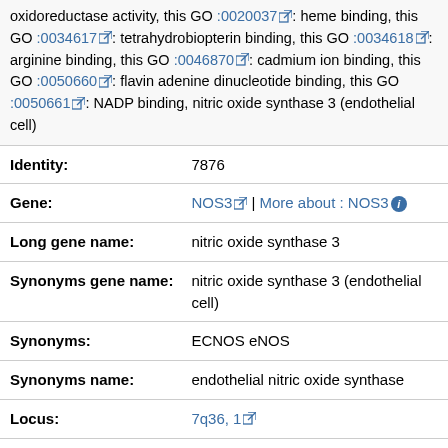oxidoreductase activity, this GO :0020037: heme binding, this GO :0034617: tetrahydrobiopterin binding, this GO :0034618: arginine binding, this GO :0046870: cadmium ion binding, this GO :0050660: flavin adenine dinucleotide binding, this GO :0050661: NADP binding, nitric oxide synthase 3 (endothelial cell)
| Identity: | 7876 |
| Gene: | NOS3 | More about : NOS3 |
| Long gene name: | nitric oxide synthase 3 |
| Synonyms gene name: | nitric oxide synthase 3 (endothelial cell) |
| Synonyms: | ECNOS eNOS |
| Synonyms name: | endothelial nitric oxide synthase |
| Locus: | 7q36, 1 |